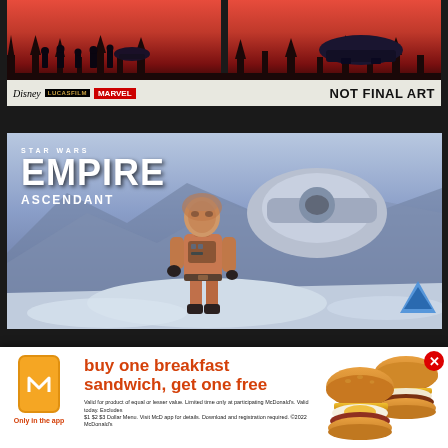[Figure (illustration): Comic book panel showing stormtroopers in a red-tinted forest scene with vehicles. Bottom bar shows Disney, Lucasfilm, Marvel logos on left and 'NOT FINAL ART' text on right.]
[Figure (illustration): Star Wars Empire Ascendant comic book cover showing a figure in an orange snow suit on a snowy planet. The title 'STAR WARS EMPIRE ASCENDANT' appears in the upper left.]
[Figure (infographic): McDonald's advertisement banner: 'buy one breakfast sandwich, get one free' with 'Only in the app' text, McDonald's logo, and images of breakfast sandwiches. Fine print with terms and conditions.]